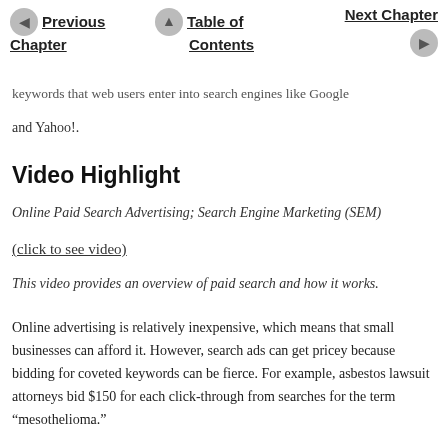Previous Chapter | Table of Contents | Next Chapter
keywords that web users enter into search engines like Google and Yahoo!.
Video Highlight
Online Paid Search Advertising; Search Engine Marketing (SEM)
(click to see video)
This video provides an overview of paid search and how it works.
Online advertising is relatively inexpensive, which means that small businesses can afford it. However, search ads can get pricey because bidding for coveted keywords can be fierce. For example, asbestos lawsuit attorneys bid $150 for each click-through from searches for the term “mesothelioma.”